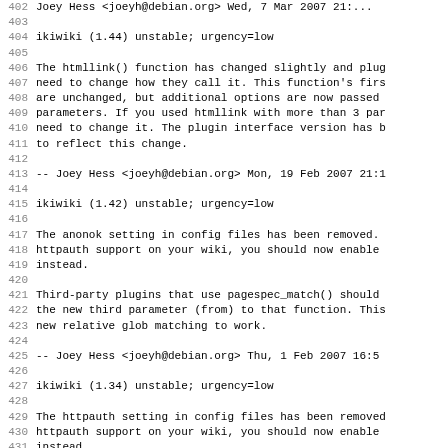Source code / changelog view, lines 402-434, ikiwiki debian changelog
402  Joey Hess <joeyh@debian.org>  Wed,  7 Mar 2007 ...
403
404 ikiwiki (1.44) unstable; urgency=low
405
406   The htmllink() function has changed slightly and plug
407   need to change how they call it. This function's firs
408   are unchanged, but additional options are now passed
409   parameters. If you used htmllink with more than 3 par
410   need to change it. The plugin interface version has b
411   to reflect this change.
412
413  -- Joey Hess <joeyh@debian.org>  Mon, 19 Feb 2007 21:1
414
415 ikiwiki (1.42) unstable; urgency=low
416
417   The anonok setting in config files has been removed.
418   httpauth support on your wiki, you should now enable
419   instead.
420
421   Third-party plugins that use pagespec_match() should
422   the new third parameter (from) to that function. This
423   new relative glob matching to work.
424
425  -- Joey Hess <joeyh@debian.org>  Thu,  1 Feb 2007 16:5
426
427 ikiwiki (1.34) unstable; urgency=low
428
429   The httpauth setting in config files has been removed
430   httpauth support on your wiki, you should now enable
431   instead.
432
433   This release includes OpenID support that is enabled
434   plugin. I recommend turning this on to make it easier